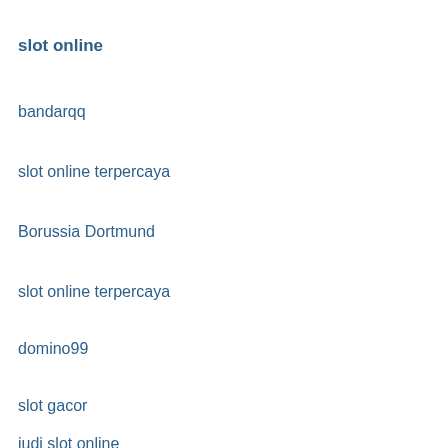slot online
bandarqq
slot online terpercaya
Borussia Dortmund
slot online terpercaya
domino99
slot gacor
judi slot online